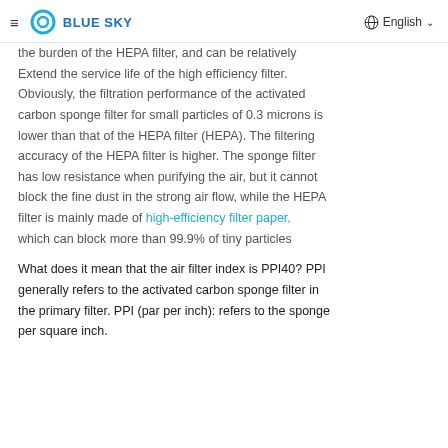≡ BLUE SKY  🌐 English ∨
the burden of the HEPA filter, and can be relatively Extend the service life of the high efficiency filter. Obviously, the filtration performance of the activated carbon sponge filter for small particles of 0.3 microns is lower than that of the HEPA filter (HEPA). The filtering accuracy of the HEPA filter is higher. The sponge filter has low resistance when purifying the air, but it cannot block the fine dust in the strong air flow, while the HEPA filter is mainly made of high-efficiency filter paper, which can block more than 99.9% of tiny particles
What does it mean that the air filter index is PPI40? PPI generally refers to the activated carbon sponge filter in the primary filter. PPI (par per inch): refers to the sponge per square inch.